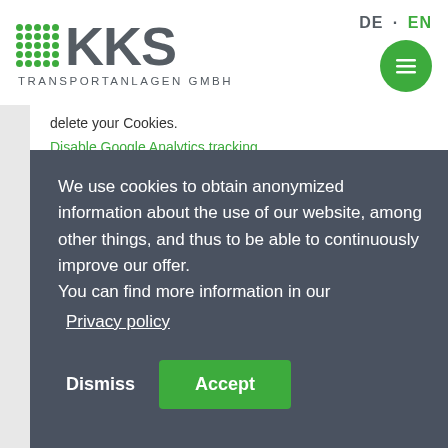[Figure (logo): KKS Transportanlagen GmbH logo with green dot grid and grey KKS text]
DE · EN
delete your Cookies.
Disable Google Analytics tracking
We use cookies to obtain anonymized information about the use of our website, among other things, and thus to be able to continuously improve our offer.
You can find more information in our
Privacy policy
Dismiss
Accept